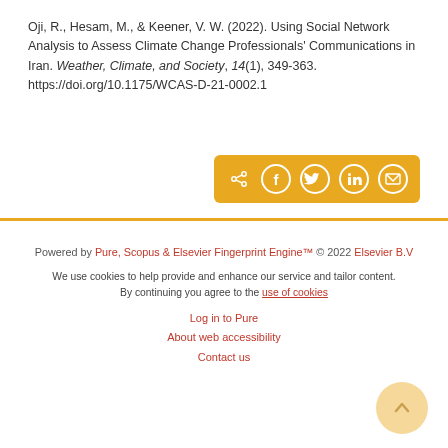Oji, R., Hesam, M., & Keener, V. W. (2022). Using Social Network Analysis to Assess Climate Change Professionals' Communications in Iran. Weather, Climate, and Society, 14(1), 349-363. https://doi.org/10.1175/WCAS-D-21-0002.1
[Figure (other): Golden share bar with share, Facebook, Twitter, LinkedIn, and email icons]
Powered by Pure, Scopus & Elsevier Fingerprint Engine™ © 2022 Elsevier B.V
We use cookies to help provide and enhance our service and tailor content. By continuing you agree to the use of cookies
Log in to Pure
About web accessibility
Contact us